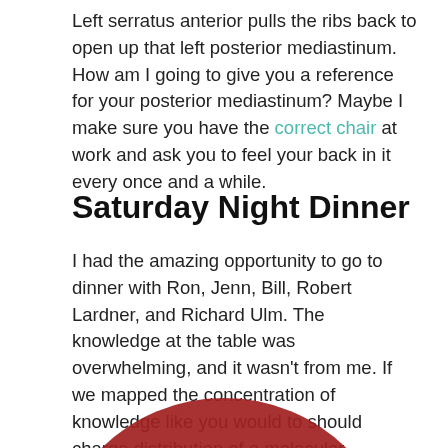Left serratus anterior pulls the ribs back to open up that left posterior mediastinum. How am I going to give you a reference for your posterior mediastinum? Maybe I make sure you have the correct chair at work and ask you to feel your back in it every once and a while.
Saturday Night Dinner
I had the amazing opportunity to go to dinner with Ron, Jenn, Bill, Robert Lardner, and Richard Ulm. The knowledge at the table was overwhelming, and it wasn't from me. If we mapped the concentration of knowledge like you would to should charge distribution of a molecular compound, the table would look very similar to the electrostatic potential map of lithium iodide.
[Figure (illustration): Partial view of a circular electrostatic potential map (green, yellow, red gradient) visible at the bottom of the page, representing the electrostatic potential map of lithium iodide.]